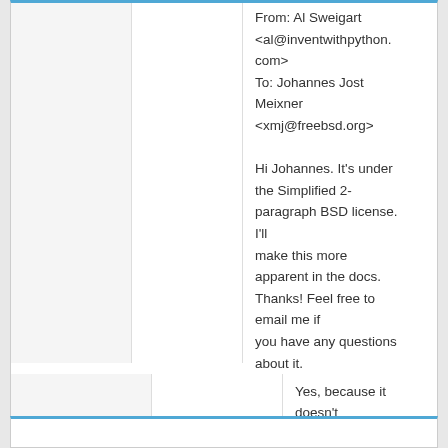From: Al Sweigart <al@inventwithpython.com>
To: Johannes Jost Meixner <xmj@freebsd.org>

Hi Johannes. It's under the Simplified 2-paragraph BSD license. I'll
make this more apparent in the docs. Thanks! Feel free to email me if
you have any questions about it.
15–16
(On Diff #6417)
Yes, because it doesn't build otherwise.